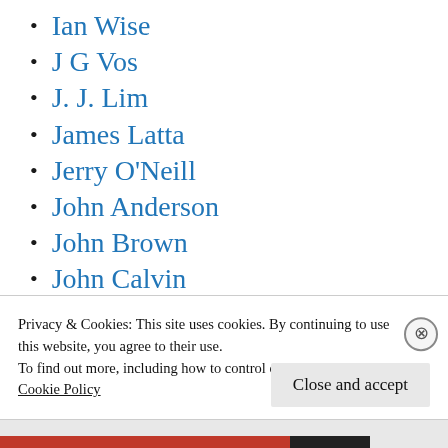Ian Wise
J G Vos
J. J. Lim
James Latta
Jerry O'Neill
John Anderson
John Brown
John Calvin
John Edgar
John Flavel
John Kennedy
Privacy & Cookies: This site uses cookies. By continuing to use this website, you agree to their use.
To find out more, including how to control cookies, see here: Cookie Policy
Close and accept